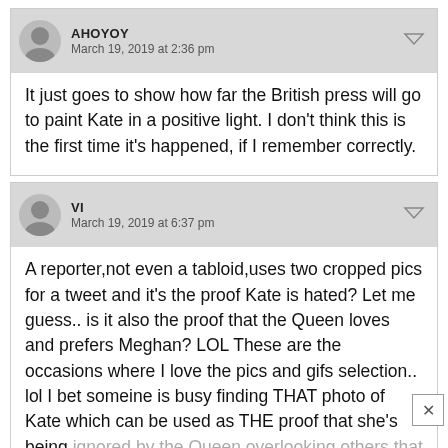AHOYOY
March 19, 2019 at 2:36 pm
It just goes to show how far the British press will go to paint Kate in a positive light. I don't think this is the first time it's happened, if I remember correctly.
VI
March 19, 2019 at 6:37 pm
A reporter,not even a tabloid,uses two cropped pics for a tweet and it's the proof Kate is hated? Let me guess.. is it also the proof that the Queen loves and prefers Meghan? LOL These are the occasions where I love the pics and gifs selection.. lol I bet someine is busy finding THAT photo of Kate which can be used as THE proof that she's being ignored by the Queen,overlooking others that show a nice interaction.. It reminds me of the engagement with